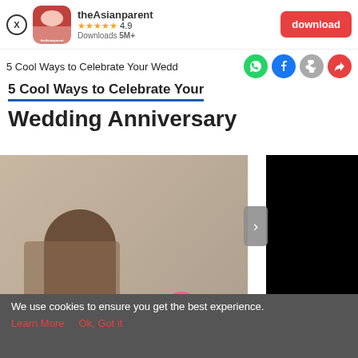[Figure (screenshot): theAsianparent app install banner with app icon, 4.9 star rating, 5M+ downloads, and red download button]
5 Cool Ways to Celebrate Your Wedding Anniversary
5 Cool Ways to Celebrate Your
Wedding Anniversary
[Figure (photo): Partially visible article hero image showing a person from behind and a black video overlay panel with navigation arrow]
[Figure (screenshot): Cordlife Singapore Umbilical Cord Storage advertisement with OPEN button]
[Figure (screenshot): App bottom navigation bar with Tools, Articles, central pregnancy icon, Feed, and Poll]
We use cookies to ensure you get the best experience.
Learn More   Ok, Got it